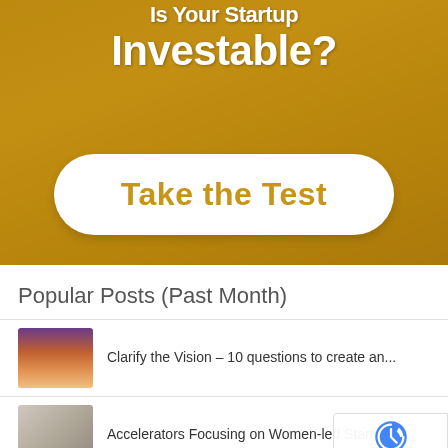[Figure (infographic): Golden/amber colored banner with text 'Is Your Startup Investable?' and a white rounded button 'Take the Test']
Popular Posts (Past Month)
Clarify the Vision – 10 questions to create an...
Accelerators Focusing on Women-led Startups